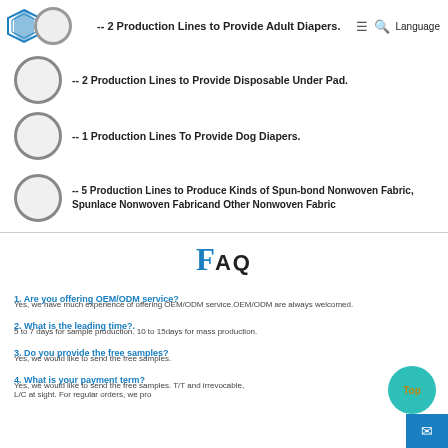-- 2 Production Lines to Provide Adult Diapers.
-- 2 Production Lines to Provide Disposable Under Pad.
-- 1 Production Lines To Provide Dog Diapers.
-- 5 Production Lines to Produce Kinds of Spun-bond Nonwoven Fabric, Spunlace Nonwoven Fabricand Other Nonwoven Fabric
FAQ
1. Are you offering OEM/ODM service?
Yes, we have much experience of offering OEM/ODM service.OEM/ODM are always welcomed.
2. What is the leading time?.
5 to 7 days for sample production. 10 to 15days for mass production.
3. Do you provide the free samples?
Yes, we would like to send the free samples.
4. What is your payment term?
Yes, we would like to send the free samples. T/T and irrevocable, L/C at sight. For regular orders, we pro